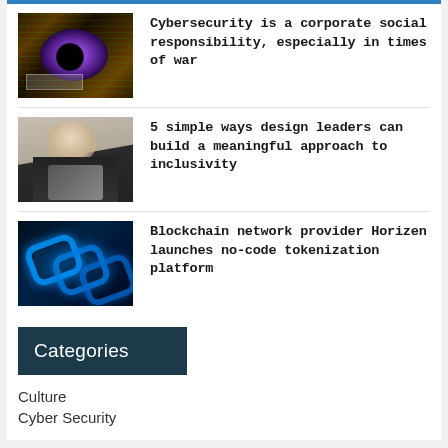[Figure (photo): Close-up of a human eye with digital matrix code overlay suggesting cybersecurity theme]
Cybersecurity is a corporate social responsibility, especially in times of war
[Figure (photo): Person holding a tablet, likely a design leader or professional]
5 simple ways design leaders can build a meaningful approach to inclusivity
[Figure (photo): Blue glowing blockchain network chain links on dark background]
Blockchain network provider Horizen launches no-code tokenization platform
Categories
Culture
Cyber Security